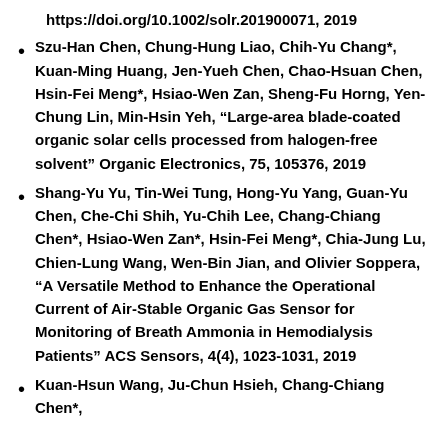https://doi.org/10.1002/solr.201900071, 2019
Szu-Han Chen, Chung-Hung Liao, Chih-Yu Chang*, Kuan-Ming Huang, Jen-Yueh Chen, Chao-Hsuan Chen, Hsin-Fei Meng*, Hsiao-Wen Zan, Sheng-Fu Horng, Yen-Chung Lin, Min-Hsin Yeh, “Large-area blade-coated organic solar cells processed from halogen-free solvent” Organic Electronics, 75, 105376, 2019
Shang-Yu Yu, Tin-Wei Tung, Hong-Yu Yang, Guan-Yu Chen, Che-Chi Shih, Yu-Chih Lee, Chang-Chiang Chen*, Hsiao-Wen Zan*, Hsin-Fei Meng*, Chia-Jung Lu, Chien-Lung Wang, Wen-Bin Jian, and Olivier Soppera, “A Versatile Method to Enhance the Operational Current of Air-Stable Organic Gas Sensor for Monitoring of Breath Ammonia in Hemodialysis Patients” ACS Sensors, 4(4), 1023-1031, 2019
Kuan-Hsun Wang, Ju-Chun Hsieh, Chang-Chiang Chen*,